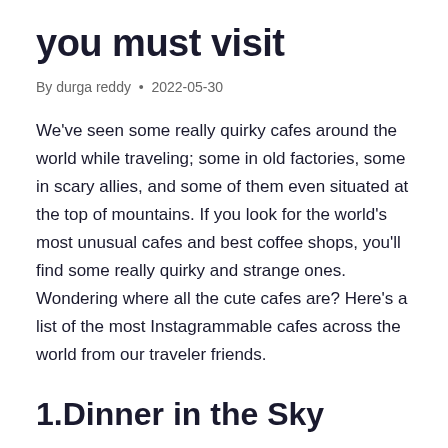you must visit
By durga reddy • 2022-05-30
We've seen some really quirky cafes around the world while traveling; some in old factories, some in scary allies, and some of them even situated at the top of mountains. If you look for the world's most unusual cafes and best coffee shops, you'll find some really quirky and strange ones. Wondering where all the cute cafes are? Here's a list of the most Instagrammable cafes across the world from our traveler friends.
1.Dinner in the Sky